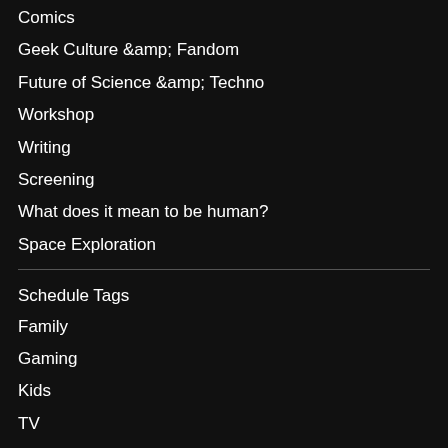Comics
Geek Culture &amp; Fandom
Future of Science &amp; Techno
Workshop
Writing
Screening
What does it mean to be human?
Space Exploration
Schedule Tags
Family
Gaming
Kids
TV
Venue Locations
Adam Savage Cosplay Repair and Lounge
Celebrity & Featured Guest Autograph Row